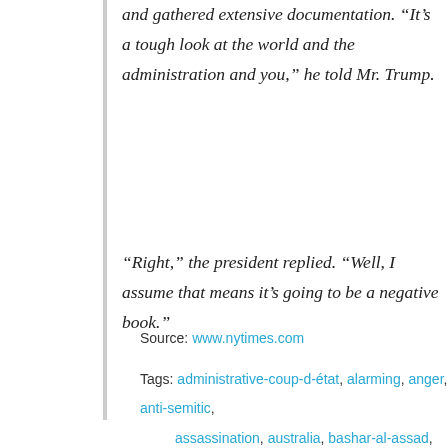and gathered extensive documentation. “It’s a tough look at the world and the administration and you,” he told Mr. Trump.
“Right,” the president replied. “Well, I assume that means it’s going to be a negative book.”
Source: www.nytimes.com
Tags: administrative-coup-d-état, alarming, anger, anti-semitic, assassination, australia, bashar-al-assad, bob-woodward, byzantine, charlottesville-virginia, clash, crazy, derision,